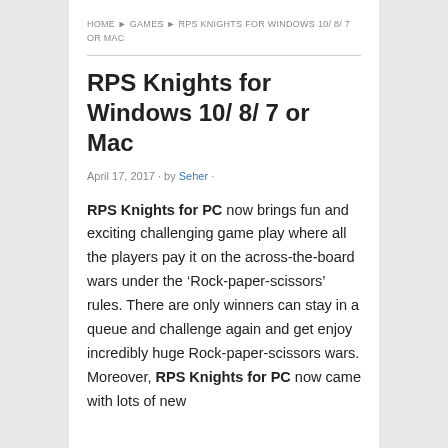HOME ▸ GAMES ▸ RPS KNIGHTS FOR WINDOWS 10/ 8/ 7 OR MAC
RPS Knights for Windows 10/ 8/ 7 or Mac
April 17, 2017 · by Seher ·
RPS Knights for PC now brings fun and exciting challenging game play where all the players pay it on the across-the-board wars under the ‘Rock-paper-scissors’ rules. There are only winners can stay in a queue and challenge again and get enjoy incredibly huge Rock-paper-scissors wars. Moreover, RPS Knights for PC now came with lots of new